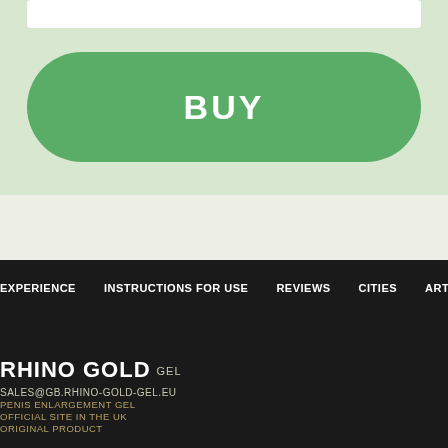[Figure (screenshot): Green section with white input bar at top and a large green rounded BUY button below on a light green background]
EXPERIENCE   INSTRUCTIONS FOR USE   REVIEWS   CITIES   ARTIC...
RHINO GOLD GEL
SALES@GB.RHINO-GOLD-GEL.EU
PENIS ENLARGEMENT GEL
OFFICIAL SITE IN THE UK
ORIGINAL PRODUCT